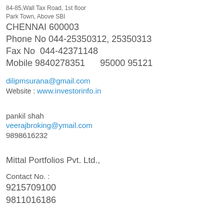84-85,Wall Tax Road, 1st floor
Park Town, Above SBI
CHENNAI 600003
Phone No 044-25350312, 25350313
Fax No  044-42371148
Mobile 9840278351      95000 95121
dilipmsurana@gmail.com
Website : www.investorinfo.in
pankil shah
veerajbroking@ymail.com
9898616232
Mittal Portfolios Pvt. Ltd.,

Contact No. :
9215709100
9811016186